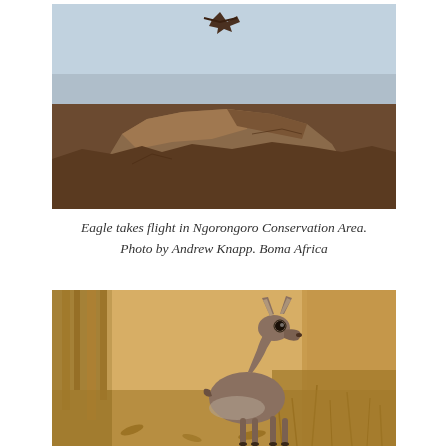[Figure (photo): Photograph of a bird of prey (eagle) taking flight from rocky terrain in Ngorongoro Conservation Area, Tanzania. The landscape is dry and barren with rugged rocks and a hazy background.]
Eagle takes flight in Ngorongoro Conservation Area. Photo by Andrew Knapp. Boma Africa
[Figure (photo): Photograph of a small antelope (dik-dik) standing in dry savanna habitat with dry grass and reeds in the background. The animal is turned slightly toward the camera.]